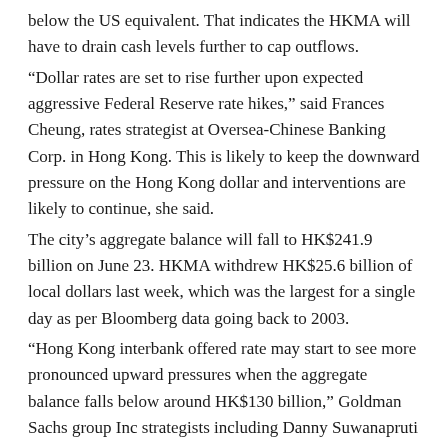below the US equivalent. That indicates the HKMA will have to drain cash levels further to cap outflows.
“Dollar rates are set to rise further upon expected aggressive Federal Reserve rate hikes,” said Frances Cheung, rates strategist at Oversea-Chinese Banking Corp. in Hong Kong. This is likely to keep the downward pressure on the Hong Kong dollar and interventions are likely to continue, she said.
The city’s aggregate balance will fall to HK$241.9 billion on June 23. HKMA withdrew HK$25.6 billion of local dollars last week, which was the largest for a single day as per Bloomberg data going back to 2003.
“Hong Kong interbank offered rate may start to see more pronounced upward pressures when the aggregate balance falls below around HK$130 billion,” Goldman Sachs group Inc strategists including Danny Suwanapruti wrote in a note.
The Hong Kong Monetary Authority Chief Executive Eddie Yue had said earlier this week that the HKMA may accelerate purchases of the local currency until the city’s interest rates approach the US rate, Ming Tao Daily reported.
The Hong Kong dollar was little changed at 7.8500 per greenback as of...